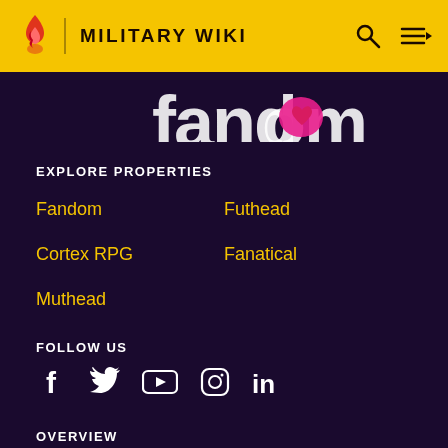MILITARY WIKI
[Figure (logo): Fandom wordmark partially visible (cropped), white text on dark purple background]
EXPLORE PROPERTIES
Fandom
Futhead
Cortex RPG
Fanatical
Muthead
FOLLOW US
[Figure (infographic): Social media icons: Facebook, Twitter, YouTube, Instagram, LinkedIn]
OVERVIEW
What is Fandom?
Terms of Use